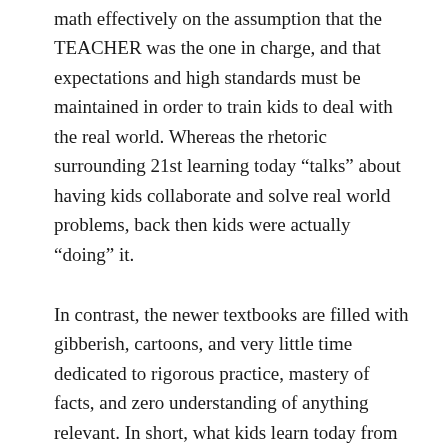math effectively on the assumption that the TEACHER was the one in charge, and that expectations and high standards must be maintained in order to train kids to deal with the real world. Whereas the rhetoric surrounding 21st learning today “talks” about having kids collaborate and solve real world problems, back then kids were actually “doing” it.
In contrast, the newer textbooks are filled with gibberish, cartoons, and very little time dedicated to rigorous practice, mastery of facts, and zero understanding of anything relevant. In short, what kids learn today from their textbooks is all over the map, with no